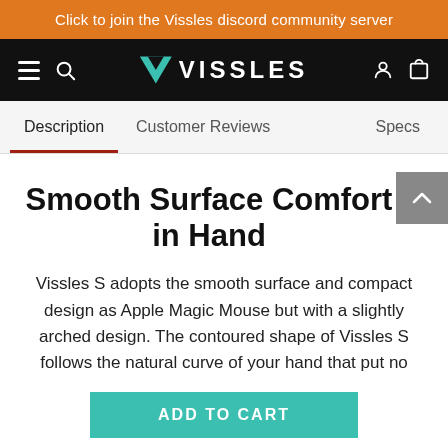Click to join the Vissles discord community server
[Figure (logo): Vissles logo with white V chevron icon and VISSLES wordmark on black navigation bar, with hamburger menu, search icon, user icon, and cart icon]
Description | Customer Reviews | Specs
Smooth Surface Comfort in Hand
Vissles S adopts the smooth surface and compact design as Apple Magic Mouse but with a slightly arched design. The contoured shape of Vissles S follows the natural curve of your hand that put no pressure on your wrist.